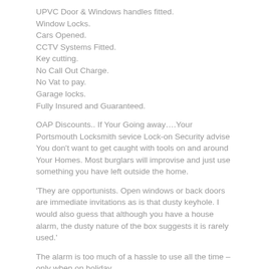UPVC Door & Windows handles fitted.
Window Locks.
Cars Opened.
CCTV Systems Fitted.
Key cutting.
No Call Out Charge.
No Vat to pay.
Garage locks.
Fully Insured and Guaranteed.
OAP Discounts.. If Your Going away….Your Portsmouth Locksmith sevice Lock-on Security advise You don’t want to get caught with tools on and around Your Homes. Most burglars will improvise and just use something you have left outside the home.
‘They are opportunists. Open windows or back doors are immediate invitations as is that dusty keyhole. I would also guess that although you have a house alarm, the dusty nature of the box suggests it is rarely used.’
The alarm is too much of a hassle to use all the time – only when on holiday.